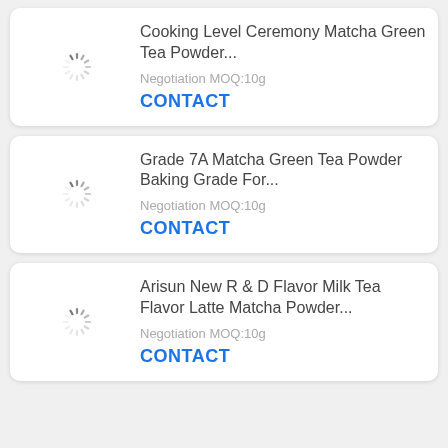[Figure (screenshot): Product listing page showing three matcha/tea powder products, each in a card with a loading spinner placeholder image, product name, MOQ, and CONTACT button.]
Cooking Level Ceremony Matcha Green Tea Powder...
Negotiation MOQ:10g
CONTACT
Grade 7A Matcha Green Tea Powder Baking Grade For...
Negotiation MOQ:10g
CONTACT
Arisun New R & D Flavor Milk Tea Flavor Latte Matcha Powder...
Negotiation MOQ:10g
CONTACT